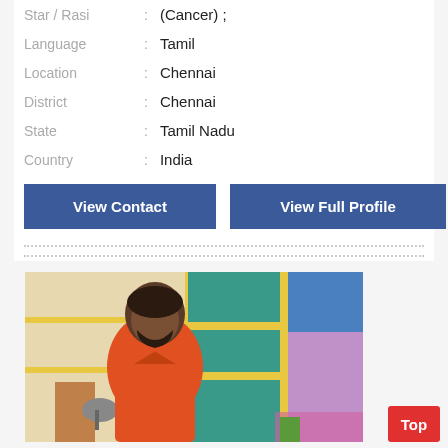Star / Rasi : (Cancer) ;
Language : Tamil
Location : Chennai
District : Chennai
State : Tamil Nadu
Country : India
View Contact
View Full Profile
[Figure (photo): Photo of a young man in an orange shirt seated near a motorcycle, with colorful buildings in the background]
Top